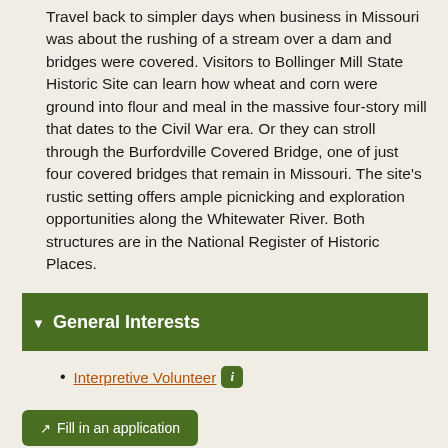Travel back to simpler days when business in Missouri was about the rushing of a stream over a dam and bridges were covered. Visitors to Bollinger Mill State Historic Site can learn how wheat and corn were ground into flour and meal in the massive four-story mill that dates to the Civil War era. Or they can stroll through the Burfordville Covered Bridge, one of just four covered bridges that remain in Missouri. The site's rustic setting offers ample picnicking and exploration opportunities along the Whitewater River. Both structures are in the National Register of Historic Places.
General Interests
Interpretive Volunteer
Fill in an application